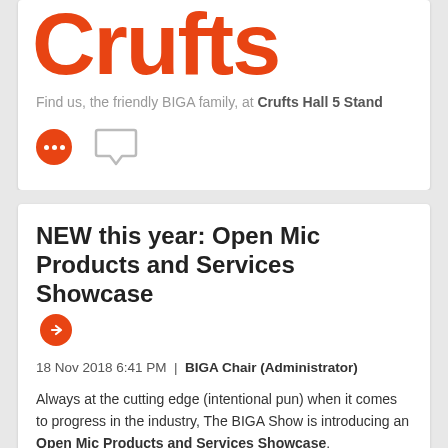[Figure (logo): Crufts logo in large bold orange/red text]
Find us, the friendly BIGA family, at Crufts Hall 5 Stand
[Figure (other): Orange circle with three white dots icon and speech bubble outline icon]
NEW this year: Open Mic Products and Services Showcase
18 Nov 2018 6:41 PM | BIGA Chair (Administrator)
Always at the cutting edge (intentional pun) when it comes to progress in the industry, The BIGA Show is introducing an Open Mic Products and Services Showcase.
Taking place in the main hall (the East Hall) instead of a separate seminar room, the Open Mic will be arranged a bit like a trade stand, on its own area, with the aim of a